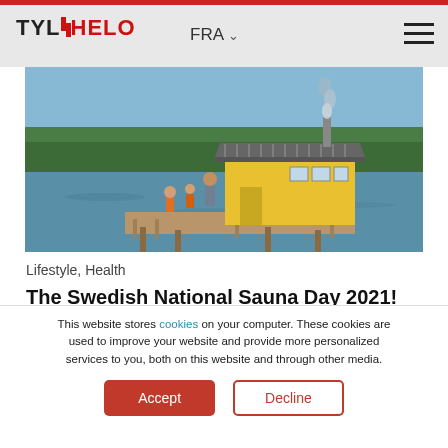TYLÖHELO — FRA
[Figure (photo): Yellow sauna cabin on a floating wooden dock over a lake, with children and an adult standing outside it, trees and blue sky in background, smoke rising from chimney]
Lifestyle, Health
The Swedish National Sauna Day 2021!
Plus d'infos ›
This website stores cookies on your computer. These cookies are used to improve your website and provide more personalized services to you, both on this website and through other media.